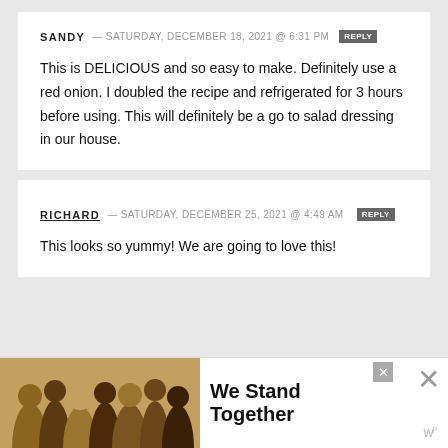SANDY — SATURDAY, DECEMBER 18, 2021 @ 6:31 PM [REPLY]
This is DELICIOUS and so easy to make. Definitely use a red onion. I doubled the recipe and refrigerated for 3 hours before using. This will definitely be a go to salad dressing in our house.
RICHARD — SATURDAY, DECEMBER 25, 2021 @ 4:49 AM [REPLY]
This looks so yummy! We are going to love this!
[Figure (screenshot): Advertisement banner at bottom: photo of group of people with arms around each other, text 'We Stand Together', close buttons]